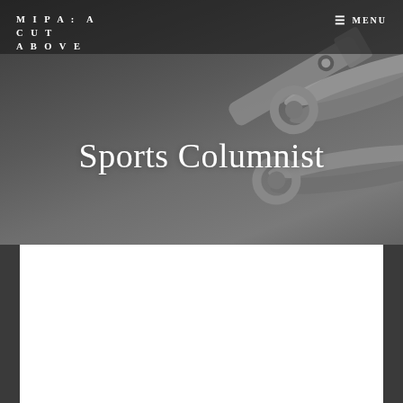MIPA: A CUT ABOVE
≡ MENU
[Figure (photo): Dark gray background with a pair of silver scissors visible in the upper right area, partially cropped, set against a muted slate-gray backdrop.]
Sports Columnist